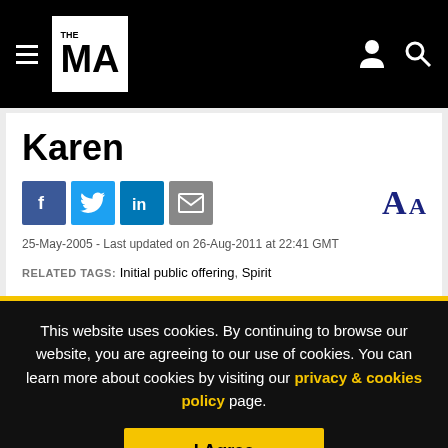THE MA [logo with hamburger menu, user icon, search icon]
Karen
25-May-2005 - Last updated on 26-Aug-2011 at 22:41 GMT
RELATED TAGS: Initial public offering, Spirit
This website uses cookies. By continuing to browse our website, you are agreeing to our use of cookies. You can learn more about cookies by visiting our privacy & cookies policy page.
I Agree